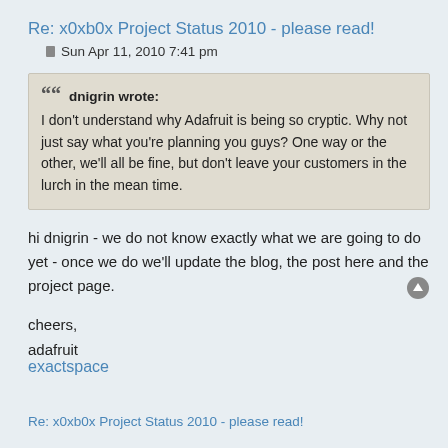Re: x0xb0x Project Status 2010 - please read!
Sun Apr 11, 2010 7:41 pm
dnigrin wrote:
I don't understand why Adafruit is being so cryptic. Why not just say what you're planning you guys? One way or the other, we'll all be fine, but don't leave your customers in the lurch in the mean time.
hi dnigrin - we do not know exactly what we are going to do yet - once we do we'll update the blog, the post here and the project page.
cheers,
adafruit
exactspace
Re: x0xb0x Project Status 2010 - please read!